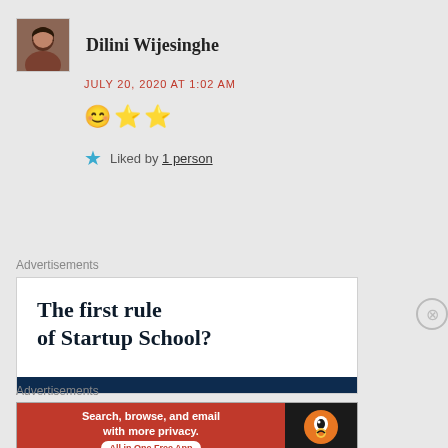[Figure (photo): Avatar photo of Dilini Wijesinghe, a woman with dark hair]
Dilini Wijesinghe
JULY 20, 2020 AT 1:02 AM
😊⭐⭐
Liked by 1 person
Advertisements
[Figure (screenshot): Advertisement: The first rule of Startup School? with dark navy footer bar]
Advertisements
[Figure (screenshot): DuckDuckGo ad: Search, browse, and email with more privacy. All in One Free App]